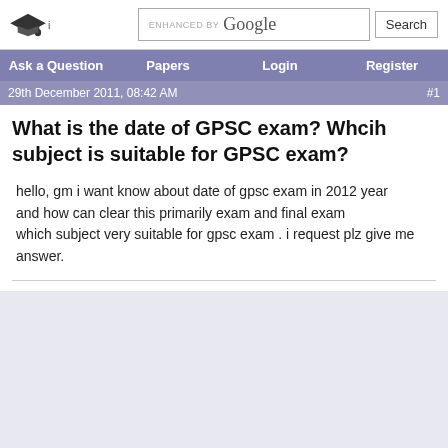ENHANCED BY Google Search
Ask a Question | Papers | Login | Register
29th December 2011, 08:42 AM  #1
What is the date of GPSC exam? Whcih subject is suitable for GPSC exam?
hello, gm i want know about date of gpsc exam in 2012 year
and how can clear this primarily exam and final exam
which subject very suitable for gpsc exam . i request plz give me answer.